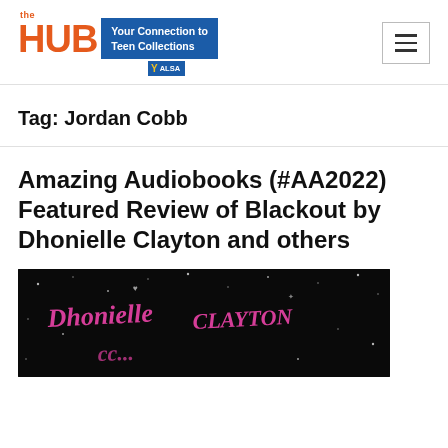the HUB — Your Connection to Teen Collections — YALSA
Tag: Jordan Cobb
Amazing Audiobooks (#AA2022) Featured Review of Blackout by Dhonielle Clayton and others
[Figure (photo): Book cover of Blackout on a dark background with pink handwritten-style text reading 'Dhonielle Clayton' and partial text below, with small white star/dot decorations]